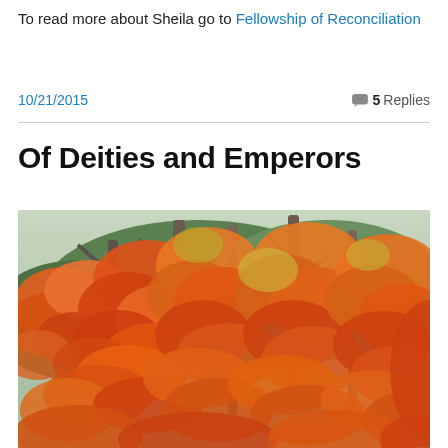To read more about Sheila go to Fellowship of Reconciliation
10/21/2015
5 Replies
Of Deities and Emperors
[Figure (photo): Autumn trees with orange, red, and green maple leaves filling the frame, with bare grey-brown tree trunks visible in the background.]